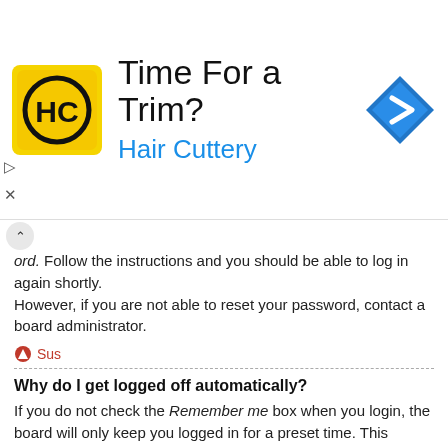[Figure (infographic): Advertisement banner for Hair Cuttery. Shows HC logo on yellow square, text 'Time For a Trim?' in large font, 'Hair Cuttery' in blue, and a blue diamond navigation arrow on the right. Small play and X controls on the left.]
ord. Follow the instructions and you should be able to log in again shortly.
However, if you are not able to reset your password, contact a board administrator.
Sus
Why do I get logged off automatically?
If you do not check the Remember me box when you login, the board will only keep you logged in for a preset time. This prevents misuse of your account by anyone else. To stay logged in, check the Remember me box during login. This is not recommended if you access the board from a shared computer, e.g. library, internet cafe, university computer lab, etc. If you do not see this checkbox, it means a board administrator has disabled this feature.
Sus